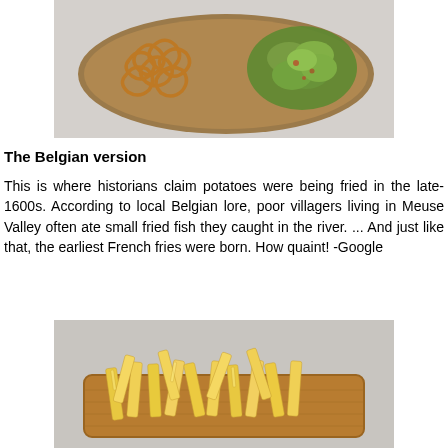[Figure (photo): A wooden plate/board with curly fried onion rings on the left and a green salad on the right, viewed from above on a light gray surface.]
The Belgian version
This is where historians claim potatoes were being fried in the late-1600s. According to local Belgian lore, poor villagers living in Meuse Valley often ate small fried fish they caught in the river. ... And just like that, the earliest French fries were born. How quaint! -Google
[Figure (photo): A wooden board/tray with a pile of yellow french fries on a light gray background.]